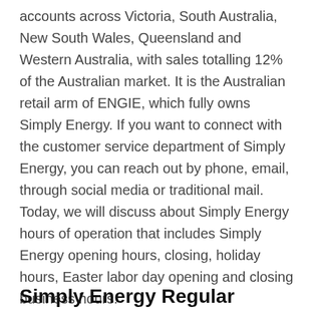accounts across Victoria, South Australia, New South Wales, Queensland and Western Australia, with sales totalling 12% of the Australian market. It is the Australian retail arm of ENGIE, which fully owns Simply Energy. If you want to connect with the customer service department of Simply Energy, you can reach out by phone, email, through social media or traditional mail. Today, we will discuss about Simply Energy hours of operation that includes Simply Energy opening hours, closing, holiday hours, Easter labor day opening and closing business hours.
Simply Energy Regular